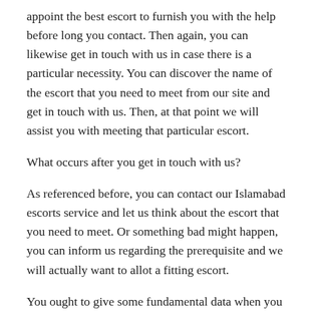appoint the best escort to furnish you with the help before long you contact. Then again, you can likewise get in touch with us in case there is a particular necessity. You can discover the name of the escort that you need to meet from our site and get in touch with us. Then, at that point we will assist you with meeting that particular escort.
What occurs after you get in touch with us?
As referenced before, you can contact our Islamabad escorts service and let us think about the escort that you need to meet. Or something bad might happen, you can inform us regarding the prerequisite and we will actually want to allot a fitting escort.
You ought to give some fundamental data when you are affirming the escort appointment. For instance, you should affirm the time and date that you need to meet the escort. Since